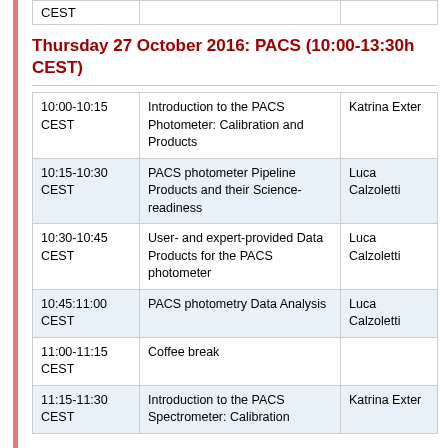|  |  |  |
| --- | --- | --- |
| CEST |  |  |
Thursday 27 October 2016: PACS (10:00-13:30h CEST)
| Time | Topic | Speaker |
| --- | --- | --- |
| 10:00-10:15 CEST | Introduction to the PACS Photometer: Calibration and Products | Katrina Exter |
| 10:15-10:30 CEST | PACS photometer Pipeline Products and their Science-readiness | Luca Calzoletti |
| 10:30-10:45 CEST | User- and expert-provided Data Products for the PACS photometer | Luca Calzoletti |
| 10:45:11:00 CEST | PACS photometry Data Analysis | Luca Calzoletti |
| 11:00-11:15 CEST | Coffee break |  |
| 11:15-11:30 CEST | Introduction to the PACS Spectrometer: Calibration | Katrina Exter |